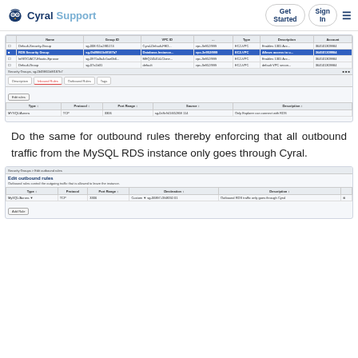Cyral Support — Get Started | Sign In
[Figure (screenshot): AWS Security Groups console screenshot showing a list of security groups with a highlighted 'RDS Security Group' row. Below shows Inbound Rules tab with a MySQL/Aurora TCP rule on port 3306 from a specific source IP, described as 'Only Explorer can connect with RDS'.]
Do the same for outbound rules thereby enforcing that all outbound traffic from the MySQL RDS instance only goes through Cyral.
[Figure (screenshot): AWS Edit outbound rules dialog showing a MySQL/Aurora TCP rule on port 3306 with a Custom destination, described as 'Outbound RDS traffic only goes through Cyral'.]